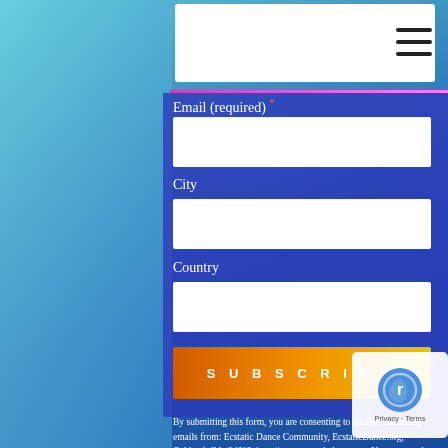Email (required)
City
Country
SUBSCRIBE
By submitting this form, you are consenting to receive marketing emails from: Ecstatic Dance Community, EcstaticDance.org, Oakland, CA, 94612, http://www.ecstaticdance.org. You can revoke your consent to receive emails at any time by using the SafeUnsubscribe® link, found at the bottom of every email. Emails are serviced by Constant Contact